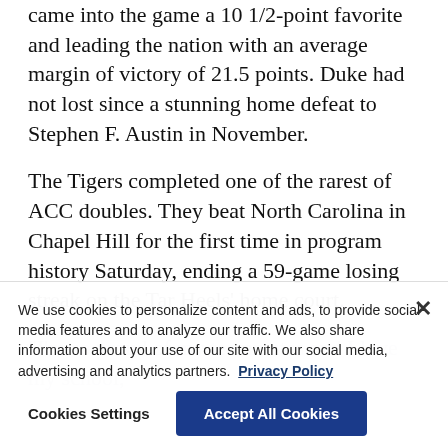came into the game a 10 1/2-point favorite and leading the nation with an average margin of victory of 21.5 points. Duke had not lost since a stunning home defeat to Stephen F. Austin in November.
The Tigers completed one of the rarest of ACC doubles. They beat North Carolina in Chapel Hill for the first time in program history Saturday, ending a 59-game losing streak on the Tar Heels’ home court.
“I’m so proud of my teammates and I love my school,”
We use cookies to personalize content and ads, to provide social media features and to analyze our traffic. We also share information about your use of our site with our social media, advertising and analytics partners. Privacy Policy
Cookies Settings   Accept All Cookies